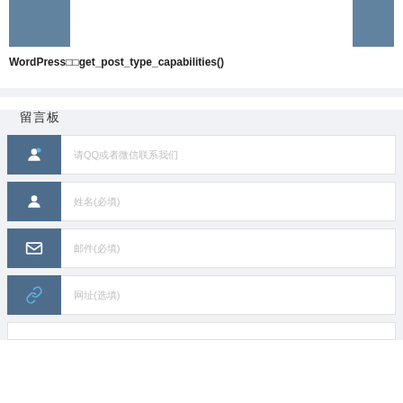[Figure (illustration): Two blue-grey rectangular image placeholders side by side at the top]
WordPress get_post_type_capabilities()
留言板
请QQ或者微信联系我们
姓名(必填)
邮件(必填)
网站(选填)